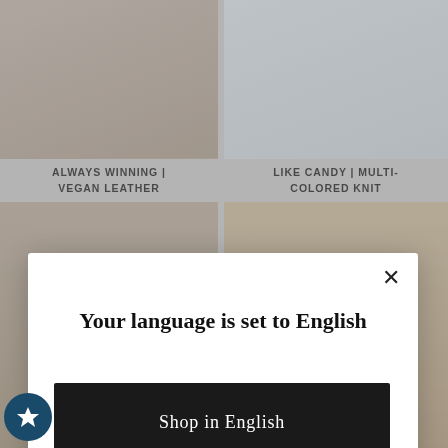[Figure (screenshot): Fashion e-commerce page background showing two product columns with clothing photos and Spanish sort dropdown reading 'Ordenar']
ALWAYS WINNING | VEGAN LEATHER
LIKE CANDY | MULTI-COLORED KNIT
[Figure (screenshot): Modal dialog overlay with close X button, heading 'Your language is set to English', a dark 'Shop in English' button, and a 'Change language' underlined link]
Your language is set to English
Shop in English
Change language
REWARDS